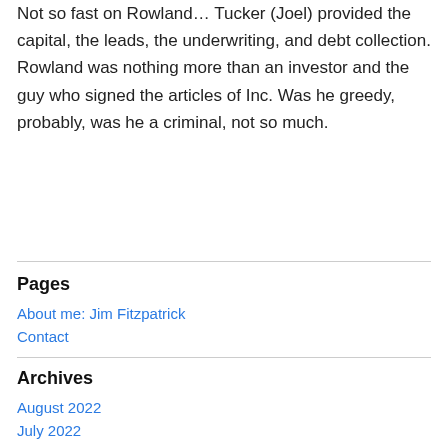Not so fast on Rowland… Tucker (Joel) provided the capital, the leads, the underwriting, and debt collection. Rowland was nothing more than an investor and the guy who signed the articles of Inc. Was he greedy, probably, was he a criminal, not so much.
Pages
About me: Jim Fitzpatrick
Contact
Archives
August 2022
July 2022